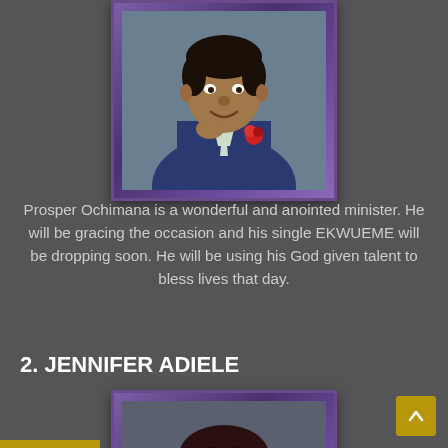[Figure (photo): Portrait photo of Prosper Ochimana, a man in a blue suit with a red flower, posing thoughtfully with hand near chin, framed with purple border]
Prosper Ochimana is a wonderful and anointed minister. He will be gracing the occasion and his single EKWUEME will be dropping soon. He will be using his God given talent to bless lives that day.
2. JENNIFER ADIELE
[Figure (photo): Portrait photo of Jennifer Adiele, a woman with curly dark hair, smiling, framed with purple border]
Scroll to top button (arrow up)